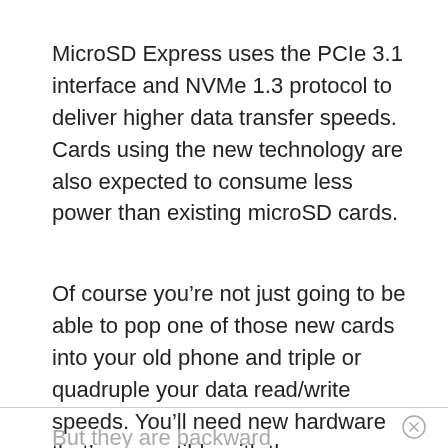MicroSD Express uses the PCIe 3.1 interface and NVMe 1.3 protocol to deliver higher data transfer speeds. Cards using the new technology are also expected to consume less power than existing microSD cards.
Of course you’re not just going to be able to pop one of those new cards into your old phone and triple or quadruple your data read/write speeds. You’ll need new hardware that’s compatible with the new standard to take full advantage of the new, faster cards.
But they are backward compatible. So if you have